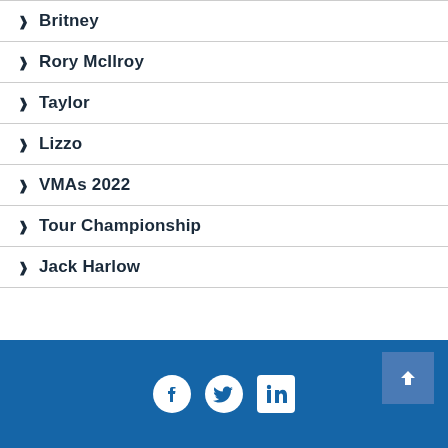Britney
Rory McIlroy
Taylor
Lizzo
VMAs 2022
Tour Championship
Jack Harlow
Social media links and back to top button